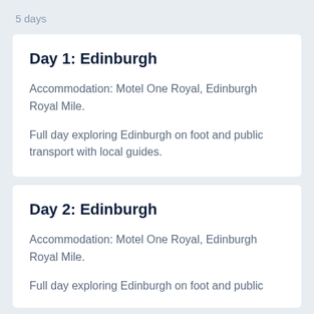5 days
Day 1: Edinburgh
Accommodation: Motel One Royal, Edinburgh Royal Mile.
Full day exploring Edinburgh on foot and public transport with local guides.
Day 2: Edinburgh
Accommodation: Motel One Royal, Edinburgh Royal Mile.
Full day exploring Edinburgh on foot and public